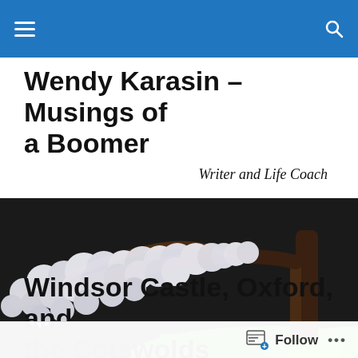Wendy Karasin – Musings of a Boomer [navigation bar]
Wendy Karasin – Musings of a Boomer
Writer and Life Coach
[Figure (photo): Wide banner photo of blossoming white/pink cherry or magnolia trees against a dark background with vibrant green grass in the foreground]
Windsor Castle, Oxford, and the Cotswolds